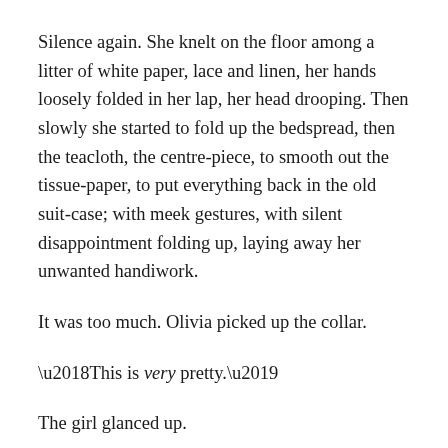Silence again.  She knelt on the floor among a litter of white paper, lace and linen, her hands loosely folded in her lap, her head drooping.  Then slowly she started to fold up the bedspread, then the teacloth, the centre-piece, to smooth out the tissue-paper, to put everything back in the old suit-case; with meek gestures, with silent disappointment folding up, laying away her unwanted handiwork.
It was too much.  Olivia picked up the collar.
‘This is very pretty.’
The girl glanced up.